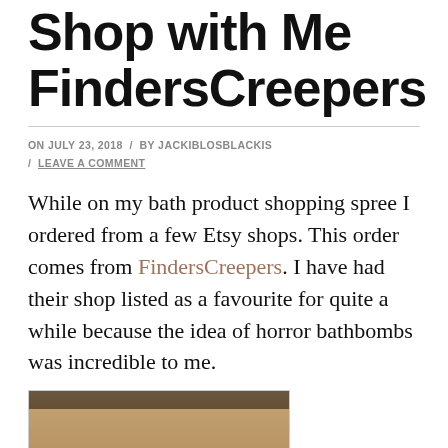Shop with Me FindersCreepers
ON JULY 23, 2018 / BY JACKIBLOSBLACKIS / LEAVE A COMMENT
While on my bath product shopping spree I ordered from a few Etsy shops. This order comes from FindersCreepers. I have had their shop listed as a favourite for quite a while because the idea of horror bathbombs was incredible to me.
[Figure (photo): Partial photo of a bath product package, tan/brown colored box visible at bottom of page.]